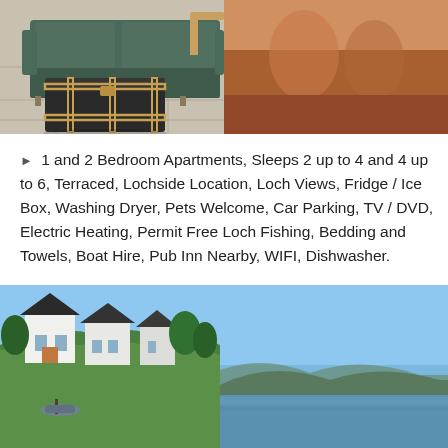[Figure (photo): Indoor photo showing a dark vintage trunk/suitcase used as a coffee table in front of a green sofa on a tiled floor]
[Figure (photo): Partial photo at top right, appears to show people or an interior scene with warm colors]
1 and 2 Bedroom Apartments, Sleeps 2 up to 4 and 4 up to 6, Terraced, Lochside Location, Loch Views, Fridge / Ice Box, Washing Dryer, Pets Welcome, Car Parking, TV / DVD, Electric Heating, Permit Free Loch Fishing, Bedding and Towels, Boat Hire, Pub Inn Nearby, WIFI, Dishwasher.
[Figure (photo): Lochside exterior photo showing white Scottish cottages/houses on a hillside overlooking a calm loch with mountains in the background under a blue sky]